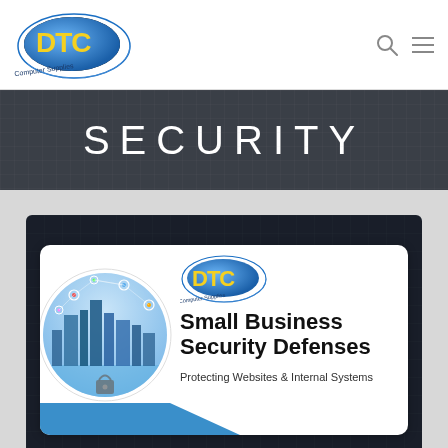[Figure (logo): DTC Computer Supplies logo in page header]
SECURITY
[Figure (illustration): Small Business Security Defenses promotional card featuring DTC Computer Supplies logo, circular city skyline with connected network nodes, bold headline 'Small Business Security Defenses', subtitle 'Protecting Websites & Internal Systems', and a blue accent shape at the bottom. Set against a dark background.]